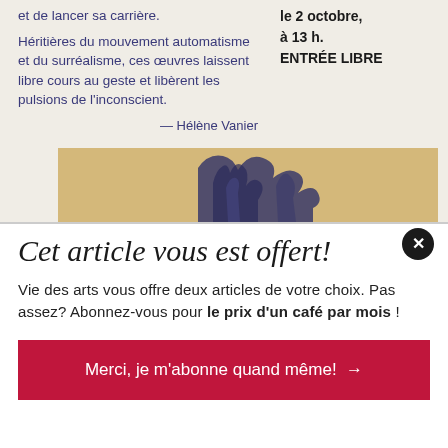et de lancer sa carrière.
Héritières du mouvement automatisme et du surréalisme, ces œuvres laissent libre cours au geste et libèrent les pulsions de l'inconscient.
— Hélène Vanier
le 2 octobre, à 13 h. ENTRÉE LIBRE
[Figure (illustration): Artwork showing an abstract or figurative drawing in blue ink on a tan/beige background, partially visible]
Cet article vous est offert!
Vie des arts vous offre deux articles de votre choix. Pas assez? Abonnez-vous pour le prix d'un café par mois !
Merci, je m'abonne quand même! →